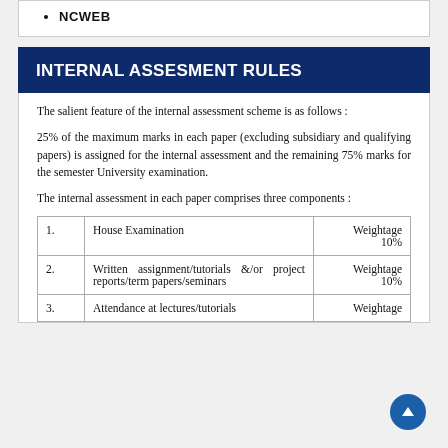NCWEB
INTERNAL ASSESMENT RULES
The salient feature of the internal assessment scheme is as follows :
25% of the maximum marks in each paper (excluding subsidiary and qualifying papers) is assigned for the internal assessment and the remaining 75% marks for the semester University examination.
The internal assessment in each paper comprises three components :
|  |  |  |
| --- | --- | --- |
| 1. | House Examination | Weightage 10% |
| 2. | Written assignment/tutorials &/or project reports/term papers/seminars | Weightage 10% |
| 3. | Attendance at lectures/tutorials | Weightage |